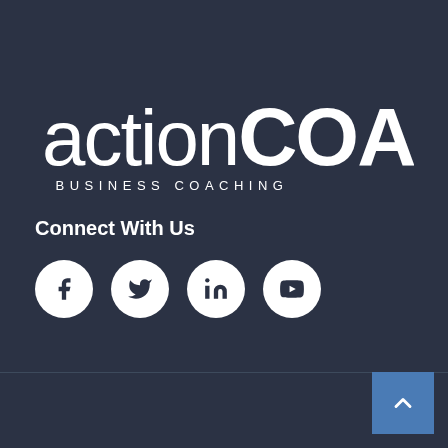[Figure (logo): ActionCOACH Business Coaching logo in white on dark blue background. Large text reads 'ActionCOACH' with 'BUSINESS COACHING' subtitle in spaced capitals.]
Connect With Us
[Figure (infographic): Four white circular social media icons: Facebook, Twitter, LinkedIn, YouTube on dark background.]